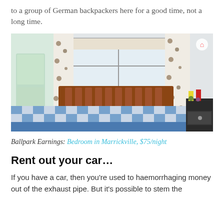to a group of German backpackers here for a good time, not a long time.
[Figure (photo): Bedroom with wooden bed frame, blue and white checked duvet, floral curtains, window, and bedside items including candles. Airbnb logo watermark in top right corner.]
Ballpark Earnings: Bedroom in Marrickville, $75/night
Rent out your car…
If you have a car, then you're used to haemorrhaging money out of the exhaust pipe. But it's possible to stem the